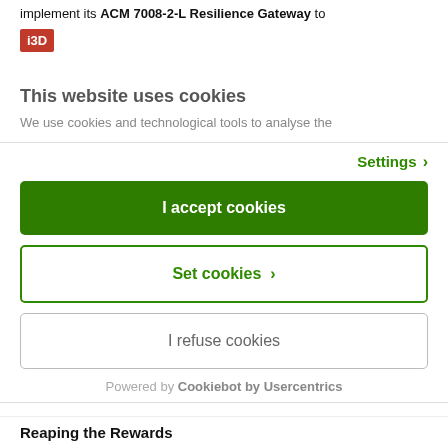implement its ACM 7008-2-L Resilience Gateway to
[Figure (logo): i3D logo — red background with white bold text 'i3D']
This website uses cookies
We use cookies and technological tools to analyse the
Settings ›
I accept cookies
Set cookies ›
I refuse cookies
Powered by Cookiebot by Usercentrics
Reaping the Rewards